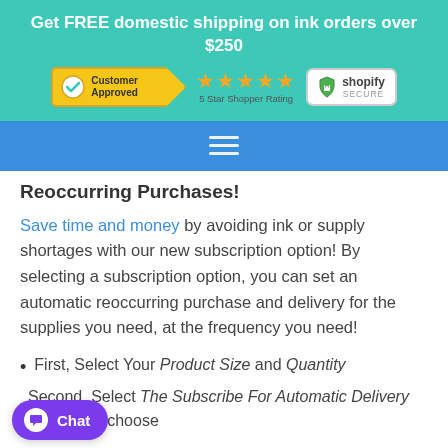Get FREE domestic shipping on ink orders over $250
[Figure (infographic): Customer Approved badge with checkmark, 5 gold stars with '5 Star Shopper Rating' text, and Shopify Secure badge with green lock icon]
Navigation hamburger menu icon on blue bar
Reoccurring Purchases!
Save time and money by avoiding ink or supply shortages with our new subscription option! By selecting a subscription option, you can set an automatic reoccurring purchase and delivery for the supplies you need, at the frequency you need!
First, Select Your Product Size and Quantity
Second, Select The Subscribe For Automatic Delivery option and choose